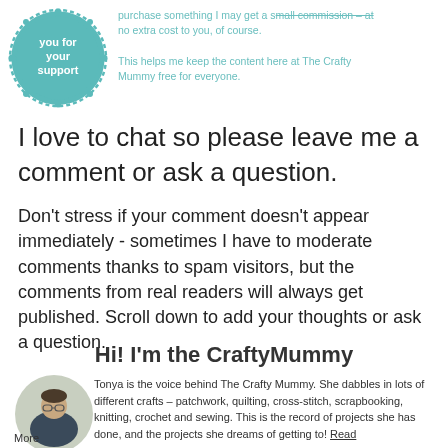[Figure (logo): Circular teal badge with text 'you for your support' inside a decorative border]
purchase something I may get a small commission – at no extra cost to you, of course.

This helps me keep the content here at The Crafty Mummy free for everyone.
I love to chat so please leave me a comment or ask a question.
Don't stress if your comment doesn't appear immediately - sometimes I have to moderate comments thanks to spam visitors, but the comments from real readers will always get published. Scroll down to add your thoughts or ask a question.
Hi! I'm the CraftyMummy
[Figure (photo): Circular portrait photo of Tonya, a woman with glasses and dark hair]
Tonya is the voice behind The Crafty Mummy. She dabbles in lots of different crafts – patchwork, quilting, cross-stitch, scrapbooking, knitting, crochet and sewing. This is the record of projects she has done, and the projects she dreams of getting to! Read More